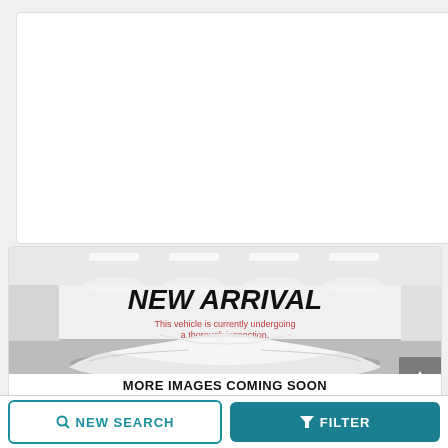[Figure (photo): White card placeholder area at the top of the page]
[Figure (photo): New arrival car dealership showroom photo with a car covered by a white drape, text overlay reading NEW ARRIVAL and This vehicle is currently undergoing a thorough inspection.]
MORE IMAGES COMING SOON
NEW SEARCH
FILTER